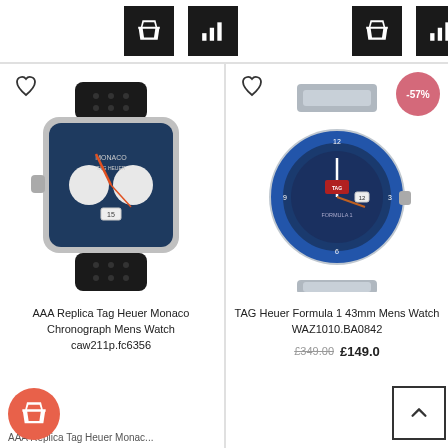[Figure (screenshot): Shopping page showing two TAG Heuer watch product listings in a two-column grid layout with cart/compare buttons, heart wishlist icons, product images, names, and prices]
[Figure (photo): AAA Replica Tag Heuer Monaco Chronograph Mens Watch caw211p.fc6356 – square blue dial chronograph watch with black leather strap]
AAA Replica Tag Heuer Monaco Chronograph Mens Watch caw211p.fc6356
[Figure (photo): TAG Heuer Formula 1 43mm Mens Watch WAZ1010.BA0842 – round blue dial watch with steel bracelet, -57% discount badge]
TAG Heuer Formula 1 43mm Mens Watch WAZ1010.BA0842
£349.00  £149.0
AAA Replica Tag Heuer Monac...